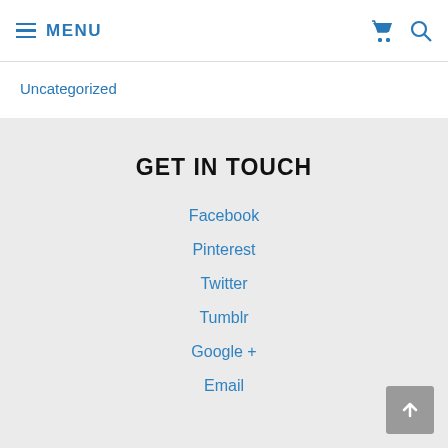≡ MENU
Uncategorized
GET IN TOUCH
Facebook
Pinterest
Twitter
Tumblr
Google +
Email